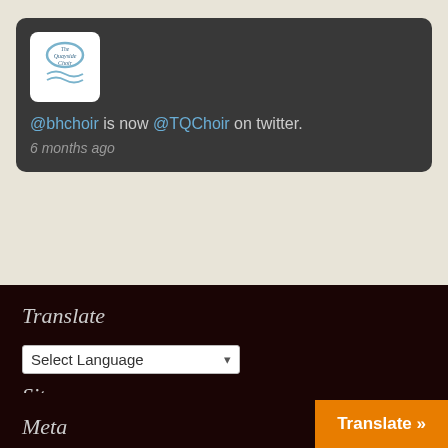[Figure (screenshot): Twitter/social media card showing The Quayside Choir avatar logo (round-cornered white box with choir text and wave graphic), with text '@bhchoir is now @TQChoir on twitter.' and timestamp '6 months ago', displayed on dark grey background card.]
Translate
[Figure (screenshot): Language selector dropdown showing 'Select Language' with a chevron, and 'Powered by Google Translate' text below]
Sitemap
Sitemap
Extended Sitemap
Meta
Translate »